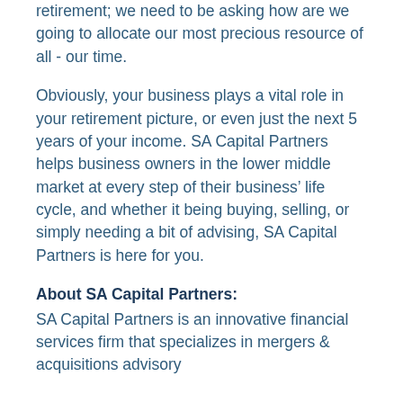retirement; we need to be asking how are we going to allocate our most precious resource of all - our time.
Obviously, your business plays a vital role in your retirement picture, or even just the next 5 years of your income. SA Capital Partners helps business owners in the lower middle market at every step of their business’ life cycle, and whether it being buying, selling, or simply needing a bit of advising, SA Capital Partners is here for you.
About SA Capital Partners:
SA Capital Partners is an innovative financial services firm that specializes in mergers & acquisitions advisory